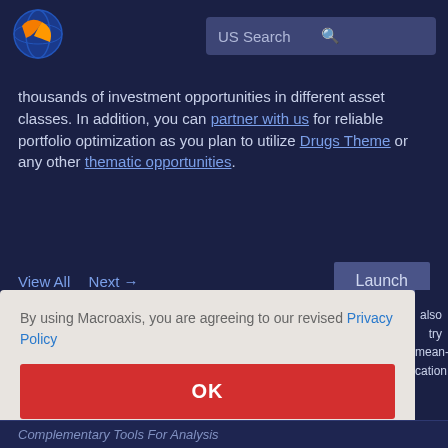[Figure (logo): Macroaxis globe logo with orange and blue colors]
US Search
thousands of investment opportunities in different asset classes. In addition, you can partner with us for reliable portfolio optimization as you plan to utilize Drugs Theme or any other thematic opportunities.
View All  Next →
Launch
By using Macroaxis, you are agreeing to our revised Privacy Policy
OK
also try mean- cation.
Complementary Tools For Analysis